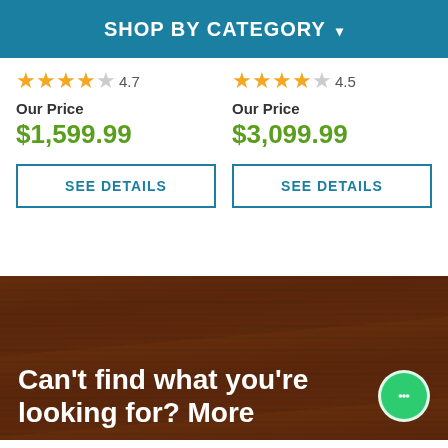SHOP BY CATEGORY ▾
★★★★☆ 4.7
Our Price $1,599.99
SEE DETAILS
★★★★☆ 4.5
Our Price $3,099.99
SEE DETAILS
Can't find what you're looking for? More